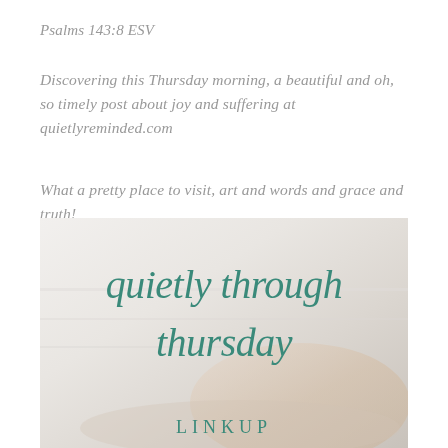Psalms 143:8 ESV
Discovering this Thursday morning, a beautiful and oh, so timely post about joy and suffering at quietlyreminded.com
What a pretty place to visit, art and words and grace and truth!
[Figure (photo): Photo of hands resting on a book with overlaid teal cursive script text reading 'quietly through thursday' and serif caps text at bottom, on a light misty grey-white background]